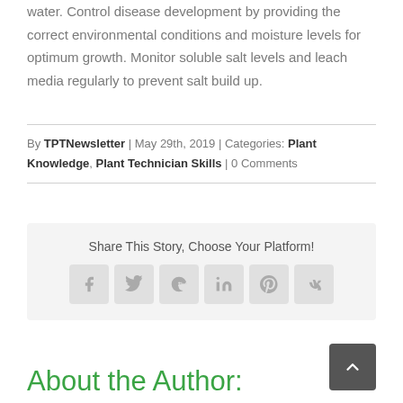water. Control disease development by providing the correct environmental conditions and moisture levels for optimum growth. Monitor soluble salt levels and leach media regularly to prevent salt build up.
By TPTNewsletter | May 29th, 2019 | Categories: Plant Knowledge, Plant Technician Skills | 0 Comments
[Figure (infographic): Share This Story, Choose Your Platform! section with social media icons for Facebook, Twitter, Reddit, LinkedIn, Pinterest, and VK]
About the Author: